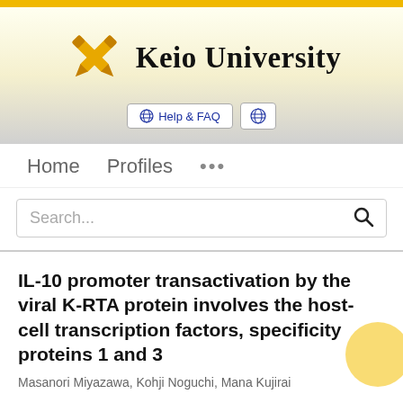[Figure (logo): Keio University logo with crossed pen/quill icon in gold and university name in serif font]
Help & FAQ  🌐
Home   Profiles   ...
Search...
IL-10 promoter transactivation by the viral K-RTA protein involves the host-cell transcription factors, specificity proteins 1 and 3
Masanori Miyazawa, Kohji Noguchi, Mana Kujirai